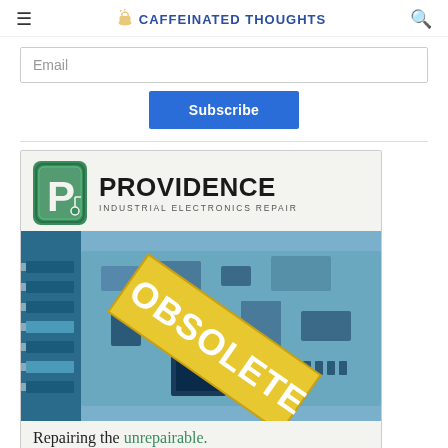☰  CAFFEINATED THOUGHTS  🔍
Email
Subscribe
[Figure (illustration): Providence Industrial Electronics Repair advertisement. Green P logo, circuit board image with 'OBSOLETE' diagonal banner, text 'Repairing the unrepairable.' and phone number 1-800-460-1869 on green bar.]